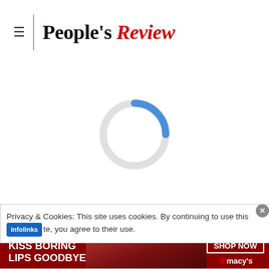People's Review
[Figure (other): Loading spinner: a circular ring with a blue arc on the upper-right portion, indicating page loading in progress]
Privacy & Cookies: This site uses cookies. By continuing to use this site, you agree to their use.
[Figure (infographic): Macy's advertisement banner: 'KISS BORING LIPS GOODBYE' with a photo of a woman's face with red lips, and a 'SHOP NOW' button with the Macy's star logo]